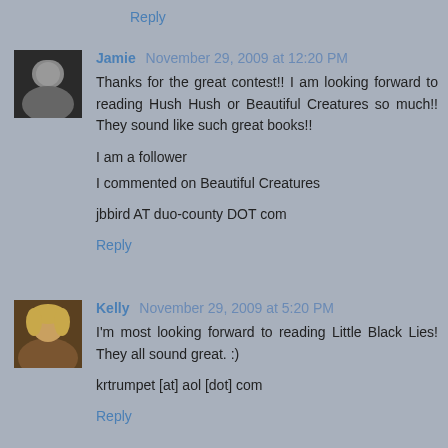Reply
Jamie  November 29, 2009 at 12:20 PM
Thanks for the great contest!! I am looking forward to reading Hush Hush or Beautiful Creatures so much!! They sound like such great books!!

I am a follower
I commented on Beautiful Creatures

jbbird AT duo-county DOT com
Reply
Kelly  November 29, 2009 at 5:20 PM
I'm most looking forward to reading Little Black Lies! They all sound great. :)

krtrumpet [at] aol [dot] com
Reply